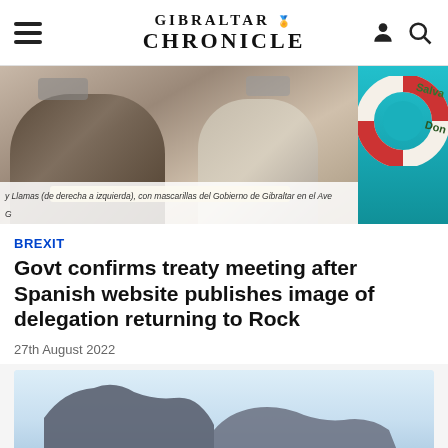Gibraltar Chronicle
[Figure (photo): Two people sitting at a table wearing masks, Gibraltar Government masks visible, on the AVE train returning to the Rock]
y Llamas (de derecha a izquierda), con mascarillas del Gobierno de Gibraltar en el Ave G
[Figure (photo): Life ring / buoy on blue background with text 'Salva' and 'Don']
BREXIT
Govt confirms treaty meeting after Spanish website publishes image of delegation returning to Rock
27th August 2022
[Figure (photo): Aerial view of the Rock of Gibraltar with misty/hazy sky background]